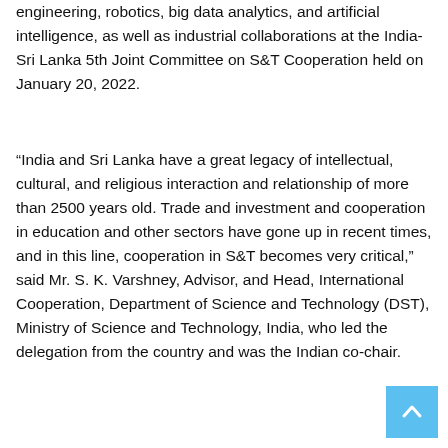engineering, robotics, big data analytics, and artificial intelligence, as well as industrial collaborations at the India-Sri Lanka 5th Joint Committee on S&T Cooperation held on January 20, 2022.
“India and Sri Lanka have a great legacy of intellectual, cultural, and religious interaction and relationship of more than 2500 years old. Trade and investment and cooperation in education and other sectors have gone up in recent times, and in this line, cooperation in S&T becomes very critical,” said Mr. S. K. Varshney, Advisor, and Head, International Cooperation, Department of Science and Technology (DST), Ministry of Science and Technology, India, who led the delegation from the country and was the Indian co-chair.